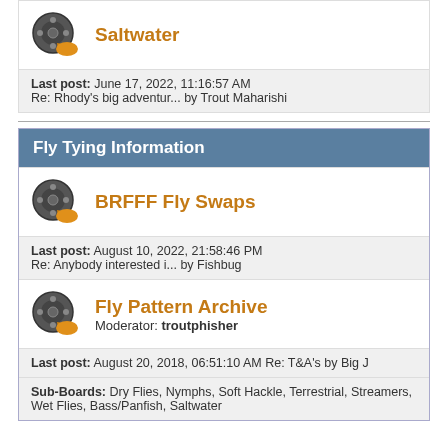Saltwater
Last post: June 17, 2022, 11:16:57 AM
Re: Rhody's big adventur... by Trout Maharishi
Fly Tying Information
BRFFF Fly Swaps
Last post: August 10, 2022, 21:58:46 PM
Re: Anybody interested i... by Fishbug
Fly Pattern Archive
Moderator: troutphisher
Last post: August 20, 2018, 06:51:10 AM Re: T&A's by Big J
Sub-Boards: Dry Flies, Nymphs, Soft Hackle, Terrestrial, Streamers, Wet Flies, Bass/Panfish, Saltwater